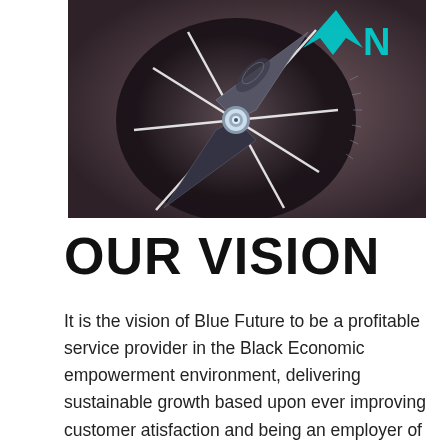[Figure (photo): Close-up photograph of a dark compass with metallic needle pointing upper-right toward a cyan/teal arrow labeled 'N', set against a dark brown/purple background with tick marks along the edge.]
OUR VISION
It is the vision of Blue Future to be a profitable service provider in the Black Economic empowerment environment, delivering sustainable growth based upon ever improving customer atisfaction and being an employer of choice linked to people driven approaches to sustainable development and to become the ultimate company of choice in IT and Security Technology Business. We will achieve this by being client focused and ensure that our clients derive the maximum benefit from their IT infrastructure.